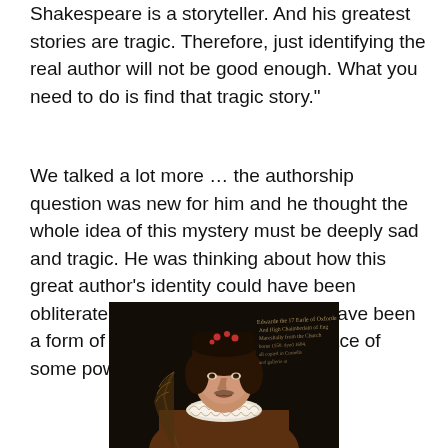Shakespeare is a storyteller. And his greatest stories are tragic. Therefore, just identifying the real author will not be good enough. What you need to do is find that tragic story."
We talked a lot more … the authorship question was new for him and he thought the whole idea of this mystery must be deeply sad and tragic. He was thinking about how this great author's identity could have been obliterated. He considered it would have been a form of murder, or suicide, in the face of some powerful force against him.
[Figure (photo): A Renaissance-era portrait painting of a man in Elizabethan dress with a white ruff collar, dark hat with decorative elements, and a feathered quill. The background is dark and there is handwritten script text in the upper right of the painting.]